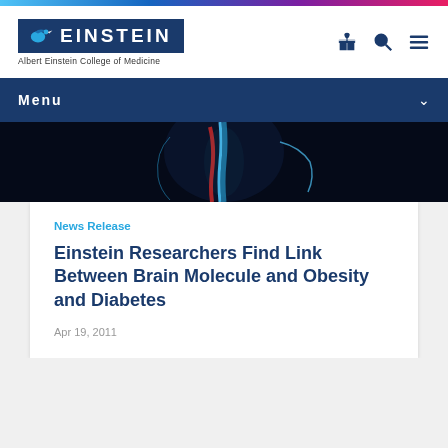[Figure (logo): Albert Einstein College of Medicine logo with blue background and bird icon, with tagline 'Albert Einstein College of Medicine']
[Figure (screenshot): Navigation header icons: gift icon, search icon, hamburger menu icon]
Menu
[Figure (photo): Dark medical/anatomical image showing human body outline with highlighted spine/vertebra in blue on black background, with red accent]
News Release
Einstein Researchers Find Link Between Brain Molecule and Obesity and Diabetes
Apr 19, 2011